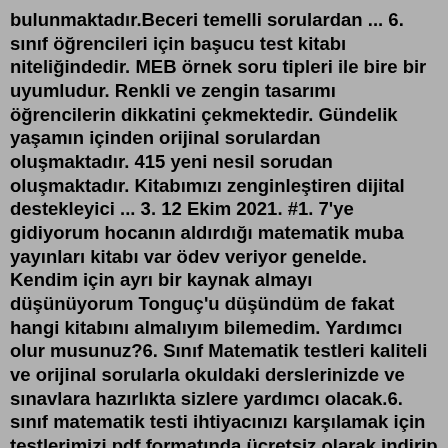bulunmaktadır.Beceri temelli sorulardan ... 6. sınıf öğrencileri için başucu test kitabı niteliğindedir. MEB örnek soru tipleri ile bire bir uyumludur. Renkli ve zengin tasarımı öğrencilerin dikkatini çekmektedir. Gündelik yaşamın içinden orijinal sorulardan oluşmaktadır. 415 yeni nesil sorudan oluşmaktadır. Kitabımızı zenginleştiren dijital destekleyici ... 3. 12 Ekim 2021. #1. 7'ye gidiyorum hocanın aldırdığı matematik muba yayınları kitabı var ödev veriyor genelde. Kendim için ayrı bir kaynak almayı düşünüyorum Tonguç'u düşündüm de fakat hangi kitabını almalıyım bilemedim. Yardımcı olur musunuz?6. Sınıf Matematik testleri kaliteli ve orijinal sorularla okuldaki derslerinizde ve sınavlara hazırlıkta sizlere yardımcı olacak.6. sınıf matematik testi ihtiyacınızı karşılamak için testlerimizi pdf formatında ücretsiz olarak indirip çözebilirsiniz.. Yaprak testlerimiz 2021-2022 eğitim - öğretim yılı güncel müfredata ve kazanımlara uygundur.Kitap almak için en uygun fiyat, hızlı kargo ve en uygun ödeme seçenekleriyle kitapaski.com gerçek aşkınız